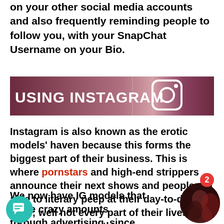on your other social media accounts and also frequently reminding people to follow you, with your SnapChat Username on your Bio.
[Figure (illustration): Dark maroon/purple banner with white text 'USING INSTAGRAM' on the left and a white Instagram camera icon on the right]
Instagram is also known as the erotic models' haven because this forms the biggest part of their business. This is where pornstars and high-end strippers announce their next shows and people are able to literary peep at their day-to-day lives; well not every part of their lives, but what complements their persona.
We now have IG models that make crazy amounts through advertising, since whatever
[Figure (photo): Circular profile photo of a person in dim red/dark lighting]
[Figure (illustration): Teal circular chat bubble icon in bottom left corner]
2 (notification badge)